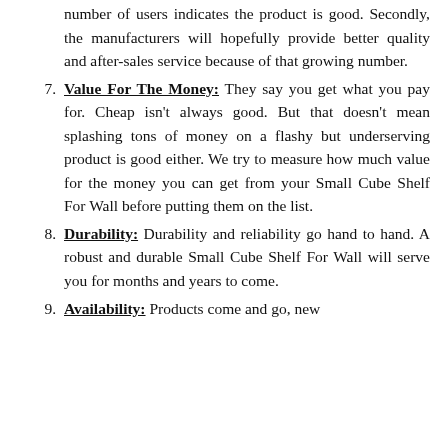(continuation) number of users indicates the product is good. Secondly, the manufacturers will hopefully provide better quality and after-sales service because of that growing number.
7. Value For The Money: They say you get what you pay for. Cheap isn't always good. But that doesn't mean splashing tons of money on a flashy but underserving product is good either. We try to measure how much value for the money you can get from your Small Cube Shelf For Wall before putting them on the list.
8. Durability: Durability and reliability go hand to hand. A robust and durable Small Cube Shelf For Wall will serve you for months and years to come.
9. Availability: Products come and go, new